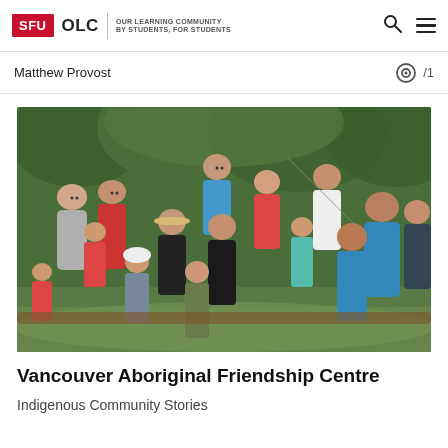SFU OLC | OUR LEARNING COMMUNITY BY STUDENTS, FOR STUDENTS
Matthew Provost
[Figure (photo): Group photo of approximately 15 children and young people outdoors in a wooded area, smiling and posing for the camera. Children wearing red, blue, grey and black clothing.]
Vancouver Aboriginal Friendship Centre
Indigenous Community Stories